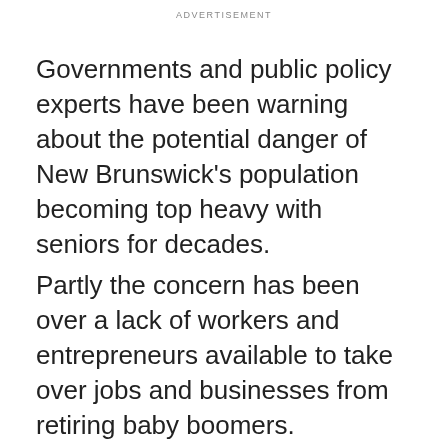ADVERTISEMENT
Governments and public policy experts have been warning about the potential danger of New Brunswick's population becoming top heavy with seniors for decades.
Partly the concern has been over a lack of workers and entrepreneurs available to take over jobs and businesses from retiring baby boomers.
[Figure (photo): Portrait photo of a man with short brown hair against a dark olive/brown background, cropped to show head and upper shoulders.]